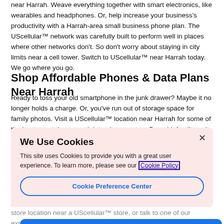near Harrah. Weave everything together with smart electronics, like wearables and headphones. Or, help increase your business's productivity with a Harrah-area small business phone plan. The UScellular™ network was carefully built to perform well in places where other networks don't. So don't worry about staying in city limits near a cell tower. Switch to UScellular™ near Harrah today. We go where you go.
Shop Affordable Phones & Data Plans Near Harrah
Ready to toss your old smartphone in the junk drawer? Maybe it no longer holds a charge. Or, you've run out of storage space for family photos. Visit a UScellular™ location near Harrah for some of the best smartphones and data plans — even Prepaid, family and international cell phone plans. Explore new phones and Certified Pre-Owned phones online from the biggest brands in the Samsung, Apple, and more. Buy only pre-ring phones with data carriers, and you'll still cut costs through our budget-friendly line of plans. Or, you'd rather get top-of-the-line phones you know the brand name with fully data controls. You decide. You can also keep your current phone & better line during an upgrade or by joining a UScellular™ store location near a UScellular™ store, or talk to one of our experts online. We'll take care of the rest.
We Use Cookies
This site uses Cookies to provide you with a great user experience. To learn more, please see our Cookie Policy
Cookie Preference Center